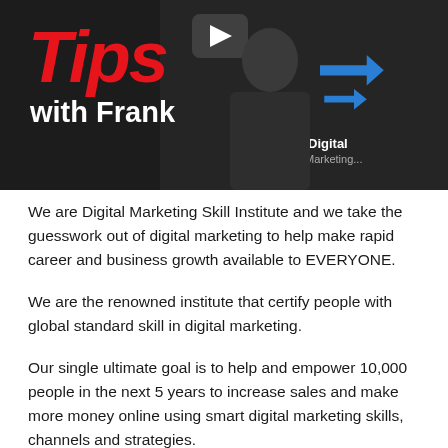[Figure (screenshot): Video thumbnail showing 'Tips with Frank' — dark background with red italic 'Tips' text and white 'with Frank' text on the left, a play button in the center top, and a person in a black shirt on the right with a blue arrow logo and 'Digital Marketing' text.]
We are Digital Marketing Skill Institute and we take the guesswork out of digital marketing to help make rapid career and business growth available to EVERYONE.
We are the renowned institute that certify people with global standard skill in digital marketing.
Our single ultimate goal is to help and empower 10,000 people in the next 5 years to increase sales and make more money online using smart digital marketing skills, channels and strategies.
This is a big deal for us because what we do does not just impact